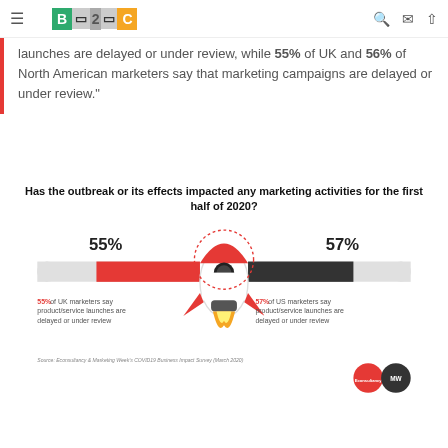B2C [logo nav bar]
launches are delayed or under review, while 55% of UK and 56% of North American marketers say that marketing campaigns are delayed or under review."
[Figure (infographic): Horizontal bar chart with rocket ship in center. Left side (red bar): 55% of UK marketers say product/service launches are delayed or under review. Right side (dark bar): 57% of US marketers say product/service launches are delayed or under review. Source: Econsultancy & Marketing Week's COVID19 Business Impact Survey (March 2020).]